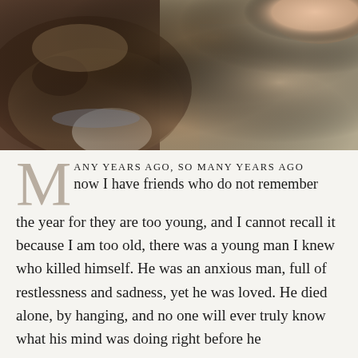[Figure (photo): Close-up photograph of a brindle dog resting its head near a person's hand, with a gray blanket in the background.]
MANY YEARS AGO, SO MANY YEARS AGO now I have friends who do not remember the year for they are too young, and I cannot recall it because I am too old, there was a young man I knew who killed himself. He was an anxious man, full of restlessness and sadness, yet he was loved. He died alone, by hanging, and no one will ever truly know what his mind was doing right before he